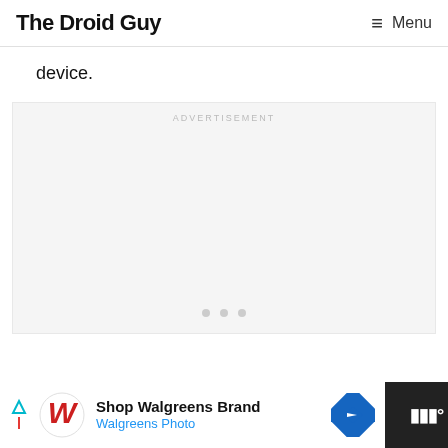The Droid Guy | Menu
device.
[Figure (other): Advertisement placeholder box with 'ADVERTISEMENT' label and three dots at bottom]
[Figure (other): Bottom advertisement bar: Shop Walgreens Brand / Walgreens Photo with logo and navigation icon]